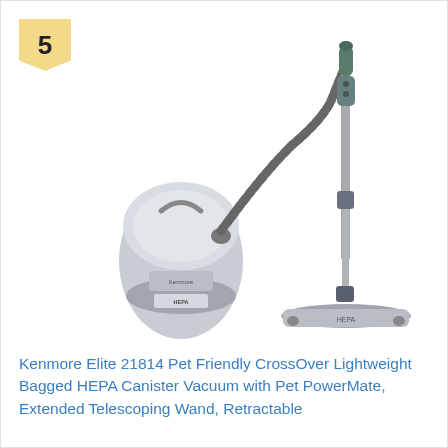5
[Figure (photo): Kenmore Elite canister vacuum cleaner with flexible hose, telescoping wand, and floor powerhead attachment shown assembled and ready to use.]
Kenmore Elite 21814 Pet Friendly CrossOver Lightweight Bagged HEPA Canister Vacuum with Pet PowerMate, Extended Telescoping Wand, Retractable